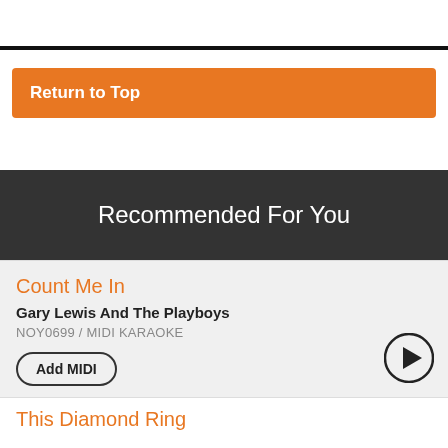[Figure (other): Partial image at top of page, cropped]
Return to Top
Recommended For You
Count Me In
Gary Lewis And The Playboys
NOY0699 / MIDI KARAOKE
Add MIDI
This Diamond Ring